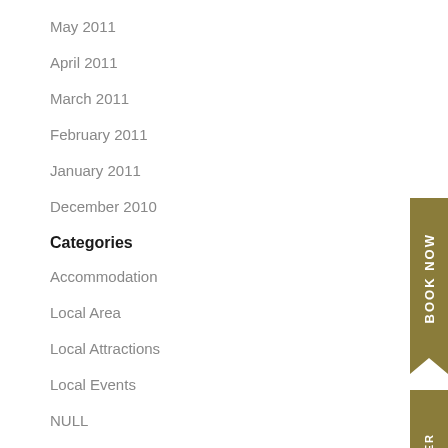May 2011
April 2011
March 2011
February 2011
January 2011
December 2010
Categories
Accommodation
Local Area
Local Attractions
Local Events
NULL